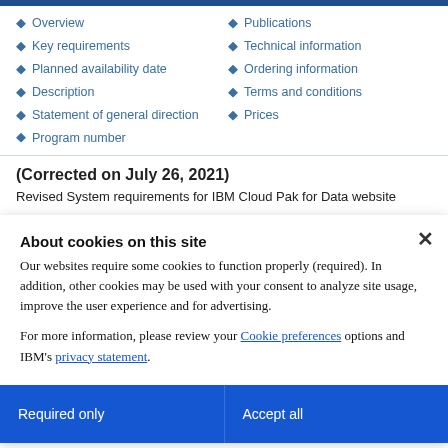Overview
Key requirements
Planned availability date
Description
Statement of general direction
Program number
Publications
Technical information
Ordering information
Terms and conditions
Prices
(Corrected on July 26, 2021)
Revised System requirements for IBM Cloud Pak for Data website
About cookies on this site
Our websites require some cookies to function properly (required). In addition, other cookies may be used with your consent to analyze site usage, improve the user experience and for advertising.

For more information, please review your Cookie preferences options and IBM's privacy statement.
Required only
Accept all